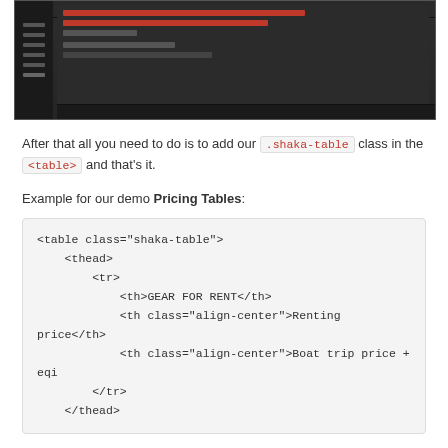[Figure (screenshot): Screenshot of a dark-themed code editor or IDE interface showing code lines]
After that all you need to do is to add our .shaka-table class in the <table> and that's it.
Example for our demo Pricing Tables:
<table class="shaka-table">
    <thead>
        <tr>
            <th>GEAR FOR RENT</th>
            <th class="align-center">Renting price</th>
            <th class="align-center">Boat trip price + eqi
        </tr>
    </thead>